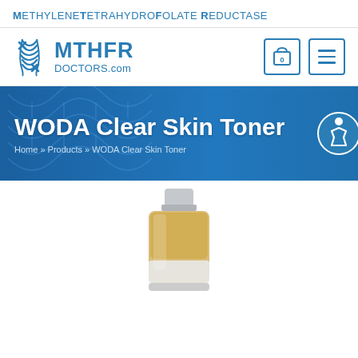METHYLENETETRAHYDROFOLATE REDUCTASE
[Figure (logo): MTHFR Doctors.com logo with DNA double helix icon in blue, shopping cart icon with 0, and hamburger menu icon]
[Figure (infographic): Blue hero banner with DNA background showing 'WODA Clear Skin Toner' title, breadcrumb navigation 'Home » Products » WODA Clear Skin Toner', and accessibility icon on right]
[Figure (photo): WODA Clear Skin Toner product bottle with silver cap and amber/yellow liquid body, partially visible at bottom of page]